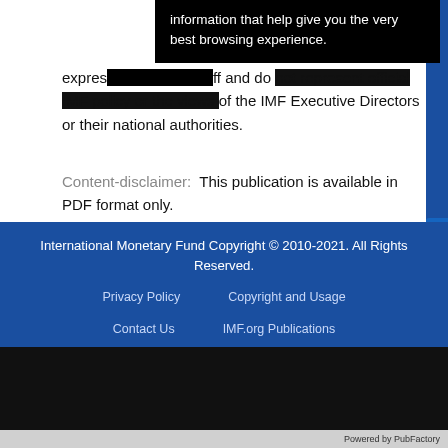information that help give you the very best browsing experience.
expressed by IMF staff and do not represent official IMF policy or the views of the IMF Executive Directors or their national authorities.
Content-disclaimer:  This publication is available in PDF format only.
International Monetary Fund Copyright © 2010-2021. All Rights Reserved.
Privacy Policy    Copyright and Usage
Contact Us    IMF.org Publications
Powered by PubFactory